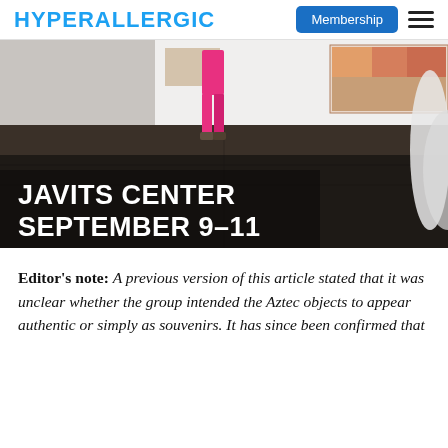HYPERALLERGIC | Membership
[Figure (photo): Gallery interior with person in pink outfit standing on dark floor, with artwork on white walls. Overlaid text reads: JAVITS CENTER SEPTEMBER 9–11]
Editor's note: A previous version of this article stated that it was unclear whether the group intended the Aztec objects to appear authentic or simply as souvenirs. It has since been confirmed that